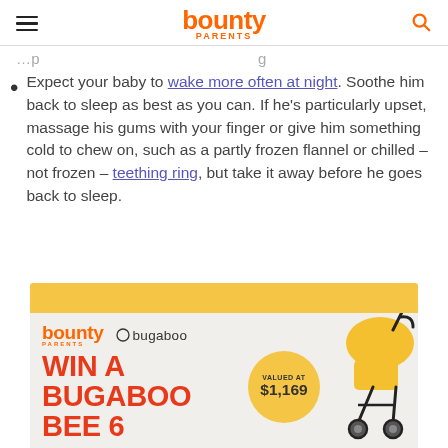bounty PARENTS
…partial truncated text continuing from previous…
Expect your baby to wake more often at night. Soothe him back to sleep as best as you can. If he's particularly upset, massage his gums with your finger or give him something cold to chew on, such as a partly frozen flannel or chilled – not frozen – teething ring, but take it away before he goes back to sleep.
[Figure (infographic): Bounty Parents and Bugaboo advertisement banner promoting a chance to win a Bugaboo Bee 6 stroller valued at $1,169. Features logos, yellow header bar, yellow circle with value, and an image of a yellow Bugaboo stroller.]